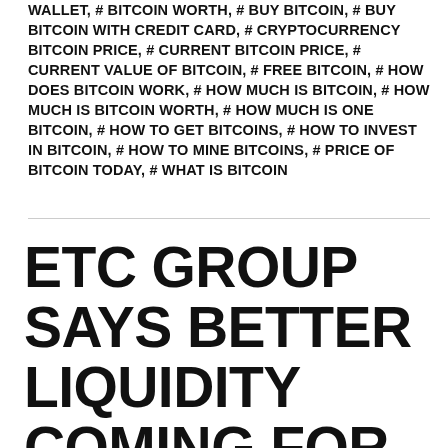WALLET, # BITCOIN WORTH, # BUY BITCOIN, # BUY BITCOIN WITH CREDIT CARD, # CRYPTOCURRENCY BITCOIN PRICE, # CURRENT BITCOIN PRICE, # CURRENT VALUE OF BITCOIN, # FREE BITCOIN, # HOW DOES BITCOIN WORK, # HOW MUCH IS BITCOIN, # HOW MUCH IS BITCOIN WORTH, # HOW MUCH IS ONE BITCOIN, # HOW TO GET BITCOINS, # HOW TO INVEST IN BITCOIN, # HOW TO MINE BITCOINS, # PRICE OF BITCOIN TODAY, # WHAT IS BITCOIN
ETC GROUP SAYS BETTER LIQUIDITY COMING FOR BITCOIN BASED